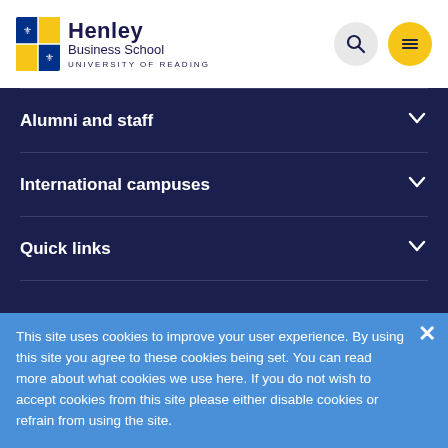[Figure (logo): Henley Business School, University of Reading logo with shield emblem]
Alumni and staff
International campuses
Quick links
© Henley Business School UK 2023
This site uses cookies to improve your user experience. By using this site you agree to these cookies being set. You can read more about what cookies we use here. If you do not wish to accept cookies from this site please either disable cookies or refrain from using the site.